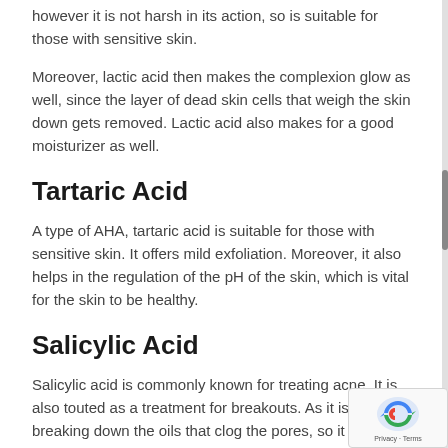however it is not harsh in its action, so is suitable for those with sensitive skin.
Moreover, lactic acid then makes the complexion glow as well, since the layer of dead skin cells that weigh the skin down gets removed. Lactic acid also makes for a good moisturizer as well.
Tartaric Acid
A type of AHA, tartaric acid is suitable for those with sensitive skin. It offers mild exfoliation. Moreover, it also helps in the regulation of the pH of the skin, which is vital for the skin to be healthy.
Salicylic Acid
Salicylic acid is commonly known for treating acne. It is also touted as a treatment for breakouts. As it is good for breaking down the oils that clog the pores, so it also effective for dealing with blackheads and white heads.
Furthermore, salicylic acid is also a good anti-inflammatory agent, so helps in curbing the impact of an acne breakout as